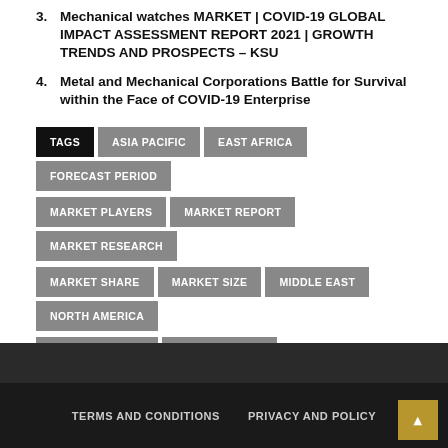3. Mechanical watches MARKET | COVID-19 GLOBAL IMPACT ASSESSMENT REPORT 2021 | GROWTH TRENDS AND PROSPECTS – KSU
4. Metal and Mechanical Corporations Battle for Survival within the Face of COVID-19 Enterprise
TAGS  ASIA PACIFIC  EAST AFRICA  FORECAST PERIOD  MARKET PLAYERS  MARKET REPORT  MARKET RESEARCH  MARKET SHARE  MARKET SIZE  MIDDLE EAST  NORTH AMERICA  STATES CANADA  UNITED STATES
TERMS AND CONDITIONS   PRIVACY AND POLICY